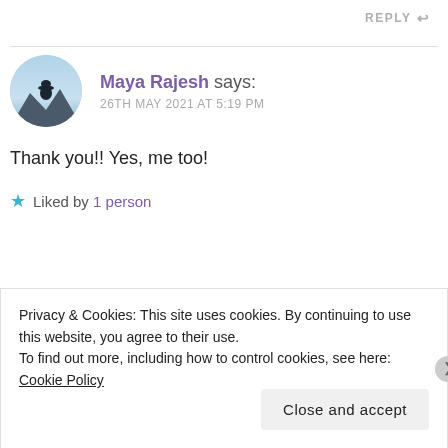REPLY ↩
Maya Rajesh says:
26TH MAY 2021 AT 5:19 PM
Thank you!! Yes, me too!
★ Liked by 1 person
REPLY ↩
Privacy & Cookies: This site uses cookies. By continuing to use this website, you agree to their use.
To find out more, including how to control cookies, see here: Cookie Policy
Close and accept